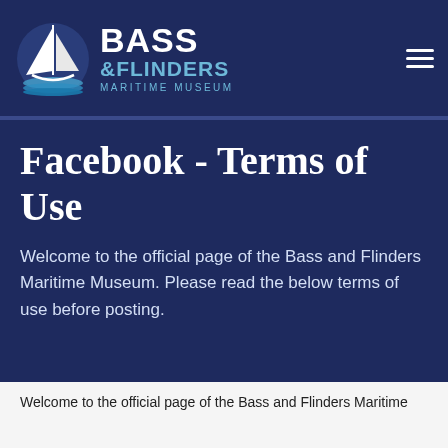[Figure (logo): Bass and Flinders Maritime Museum logo with sailboat emblem and text]
Facebook - Terms of Use
Welcome to the official page of the Bass and Flinders Maritime Museum. Please read the below terms of use before posting.
Welcome to the official page of the Bass and Flinders Maritime